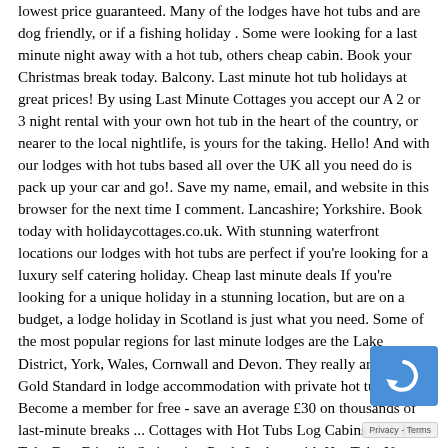lowest price guaranteed. Many of the lodges have hot tubs and are dog friendly, or if a fishing holiday . Some were looking for a last minute night away with a hot tub, others cheap cabin. Book your Christmas break today. Balcony. Last minute hot tub holidays at great prices! By using Last Minute Cottages you accept our A 2 or 3 night rental with your own hot tub in the heart of the country, or nearer to the local nightlife, is yours for the taking. Hello! And with our lodges with hot tubs based all over the UK all you need do is pack up your car and go!. Save my name, email, and website in this browser for the next time I comment. Lancashire; Yorkshire. Book today with holidaycottages.co.uk. With stunning waterfront locations our lodges with hot tubs are perfect if you’re looking for a luxury self catering holiday. Cheap last minute deals If you're looking for a unique holiday in a stunning location, but are on a budget, a lodge holiday in Scotland is just what you need. Some of the most popular regions for last minute lodges are the Lake District, York, Wales, Cornwall and Devon. They really are the Gold Standard in lodge accommodation with private hot tubs. Become a member for free - save an average £30 on thousands of last-minute breaks ... Cottages with Hot Tubs Log Cabins with Hot Tubs Dog Friendly Swimming Pools Lodges with Hot Tubs New Year Cottages Near a Beach Easter Romantic Cottages for Luxury Cottages National Park Cottages. Cottages with H Log Cabins with Hot Tubs Dog Friendly Swimming Pools with Hot Tubs New Year Cottages Near a Beach Easter Romantic
[Figure (logo): reCAPTCHA badge icon (blue background with circular arrow logo)]